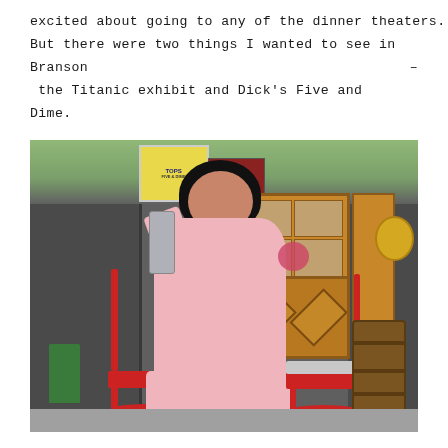excited about going to any of the dinner theaters. But there were two things I wanted to see in Branson – the Titanic exhibit and Dick's Five and Dime.
[Figure (photo): A woman in a pink outfit sitting in a red rocking chair in front of what appears to be Dick's Five and Dime store in Branson, holding a tin cup. Red rocking chairs are visible, wooden barrel on right, green trash can on left, wooden doors in background with a TOPS sign visible.]